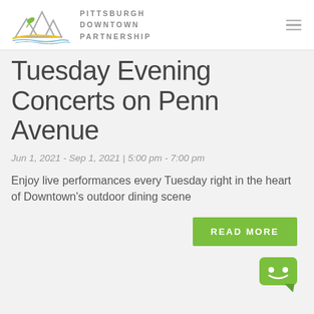Pittsburgh Downtown Partnership
Tuesday Evening Concerts on Penn Avenue
Jun 1, 2021 - Sep 1, 2021 | 5:00 pm - 7:00 pm
Enjoy live performances every Tuesday right in the heart of Downtown's outdoor dining scene
READ MORE
[Figure (illustration): Green chatbot icon with smiley face]